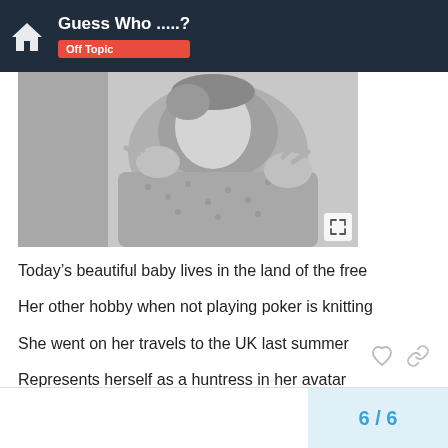Guess Who .....? Off Topic
[Figure (photo): Black and white close-up photo of a baby]
Today’s beautiful baby lives in the land of the free
Her other hobby when not playing poker is knitting
She went on her travels to the UK last summer
Represents herself as a huntress in her avatar
She loves jokes !
6 / 6